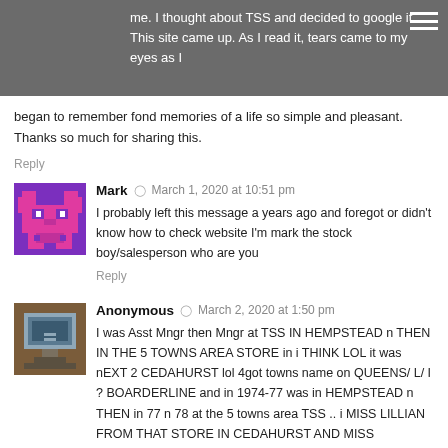me. I thought about TSS and decided to google it. This site came up. As I read it, tears came to my eyes as I began to remember fond memories of a life so simple and pleasant. Thanks so much for sharing this.
Reply
[Figure (illustration): Pixel art avatar for user Mark - purple/pink blocky bear-like image]
Mark  March 1, 2020 at 10:51 pm
I probably left this message a years ago and foregot or didn't know how to check website I'm mark the stock boy/salesperson who are you
Reply
[Figure (illustration): Pixel art avatar for Anonymous - brown/grey blocky image]
Anonymous  March 2, 2020 at 1:50 pm
I was Asst Mngr then Mngr at TSS IN HEMPSTEAD n THEN IN THE 5 TOWNS AREA STORE in i THINK LOL it was nEXT 2 CEDAHURST lol 4got towns name on QUEENS/ L/ I ? BOARDERLINE and in 1974-77 was in HEMPSTEAD n THEN in 77 n 78 at the 5 towns area TSS .. i MISS LILLIAN FROM THAT STORE IN CEDAHURST AND MISS MANAGER ALL